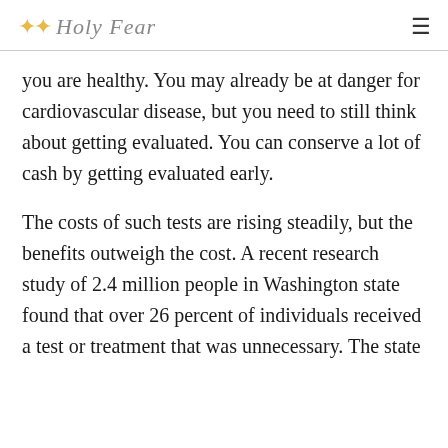Holy Fear
you are healthy. You may already be at danger for cardiovascular disease, but you need to still think about getting evaluated. You can conserve a lot of cash by getting evaluated early.
The costs of such tests are rising steadily, but the benefits outweigh the cost. A recent research study of 2.4 million people in Washington state found that over 26 percent of individuals received a test or treatment that was unnecessary. The state